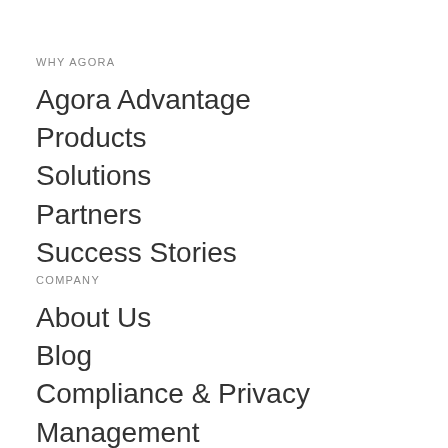WHY AGORA
Agora Advantage
Products
Solutions
Partners
Success Stories
COMPANY
About Us
Blog
Compliance & Privacy
Management
Events
Careers